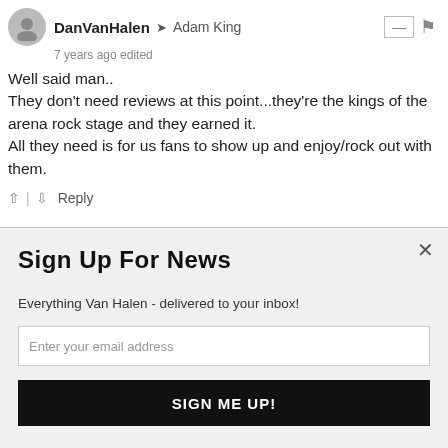DanVanHalen → Adam King
7 years ago edited
Well said man..
They don't need reviews at this point...they're the kings of the arena rock stage and they earned it.
All they need is for us fans to show up and enjoy/rock out with them.
↑ | ↓  Reply
This comment was delet [SUMO]
Sign Up For News
Everything Van Halen - delivered to your inbox!
Enter your email address
SIGN ME UP!